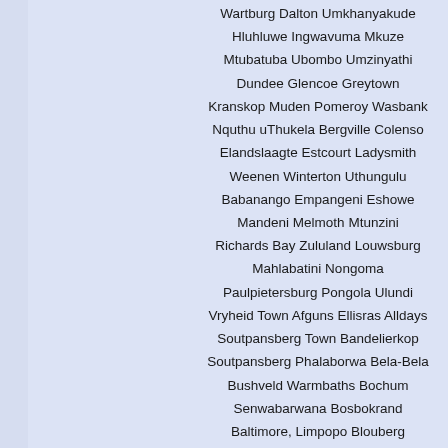Wartburg Dalton Umkhanyakude Hluhluwe Ingwavuma Mkuze Mtubatuba Ubombo Umzinyathi Dundee Glencoe Greytown Kranskop Muden Pomeroy Wasbank Nquthu uThukela Bergville Colenso Elandslaagte Estcourt Ladysmith Weenen Winterton Uthungulu Babanango Empangeni Eshowe Mandeni Melmoth Mtunzini Richards Bay Zululand Louwsburg Mahlabatini Nongoma Paulpietersburg Pongola Ulundi Vryheid Town Afguns Ellisras Alldays Soutpansberg Town Bandelierkop Soutpansberg Phalaborwa Bela-Bela Bushveld Warmbaths Bochum Senwabarwana Bosbokrand Baltimore, Limpopo Blouberg Capricorn Town Dendron Mogwadi DuiwelskloofModjadjiskloof Ellisras Bushveld Region Lephalale Waterberg Gravelotte Giyani